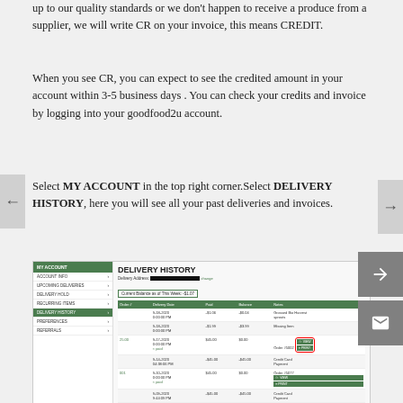up to our quality standards or we don't happen to receive a produce from a supplier, we will write CR on your invoice, this means CREDIT.
When you see CR, you can expect to see the credited amount in your account within 3-5 business days . You can check your credits and invoice by logging into your goodfood2u account.
Select MY ACCOUNT in the top right corner.Select DELIVERY HISTORY, here you will see all your past deliveries and invoices.
[Figure (screenshot): Screenshot of goodfood2u website showing DELIVERY HISTORY page with sidebar navigation including MY ACCOUNT, UPCOMING DELIVERIES, DELIVERY HOLD, RECURRING ITEMS, DELIVERY HISTORY (active), PREFERENCES, REFERRALS and a table of past deliveries with order numbers, delivery dates, paid amounts, balance and notes columns.]